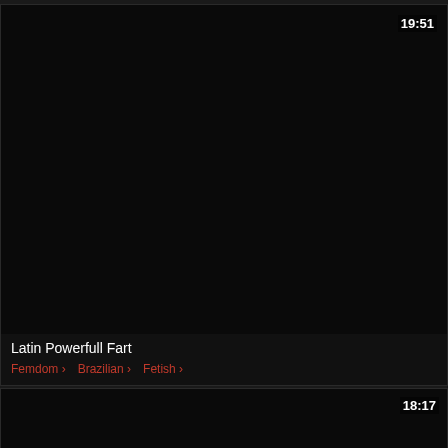[Figure (screenshot): Dark video thumbnail for 'Latin Powerfull Fart' showing black screen with duration 19:51 in top right corner]
Latin Powerfull Fart
Femdom > Brazilian > Fetish >
[Figure (screenshot): Dark video thumbnail showing black screen with duration 18:17 in top right corner]